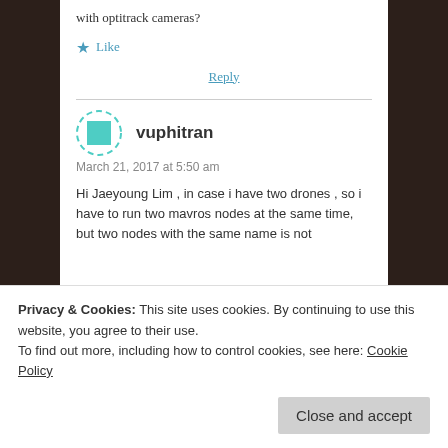with optitrack cameras?
★ Like
Reply
vuphitran
March 21, 2017 at 5:50 am
Hi Jaeyoung Lim , in case i have two drones , so i have to run two mavros nodes at the same time, but two nodes with the same name is not
Privacy & Cookies: This site uses cookies. By continuing to use this website, you agree to their use.
To find out more, including how to control cookies, see here: Cookie Policy
Close and accept
Reply